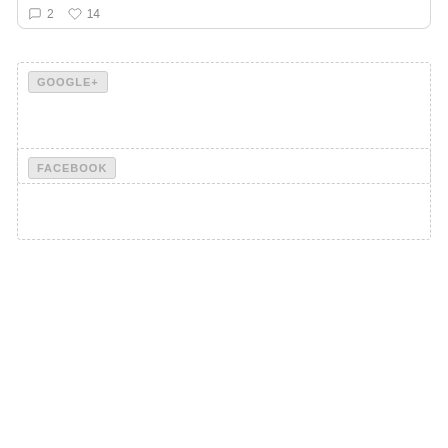[Figure (other): Social interaction bar with comment icon showing 2 and heart/like icon showing 14]
GOOGLE+
FACEBOOK